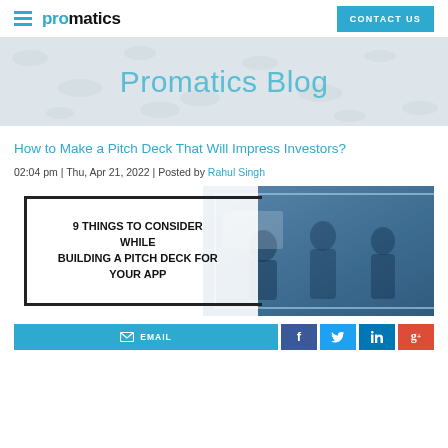promatics | CONTACT US
Promatics Blog
How to Make a Pitch Deck That Will Impress Investors?
02:04 pm | Thu, Apr 21, 2022 | Posted by Rahul Singh
[Figure (infographic): Blog article thumbnail image showing '9 THINGS TO CONSIDER WHILE BUILDING A PITCH DECK FOR YOUR APP' text on left panel with a business meeting photo on the right]
EMAIL | Facebook | Twitter | LinkedIn | Google+